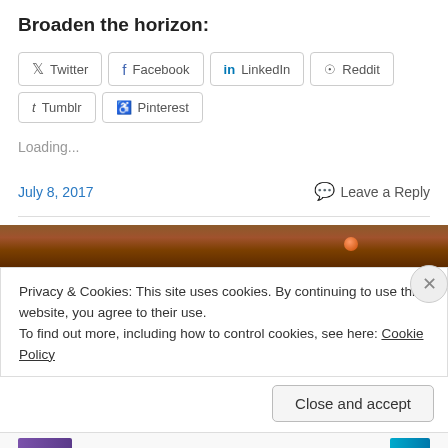Broaden the horizon:
Twitter
Facebook
LinkedIn
Reddit
Tumblr
Pinterest
Loading...
July 8, 2017
Leave a Reply
[Figure (photo): Brick wall image strip]
Privacy & Cookies: This site uses cookies. By continuing to use this website, you agree to their use.
To find out more, including how to control cookies, see here: Cookie Policy
Close and accept